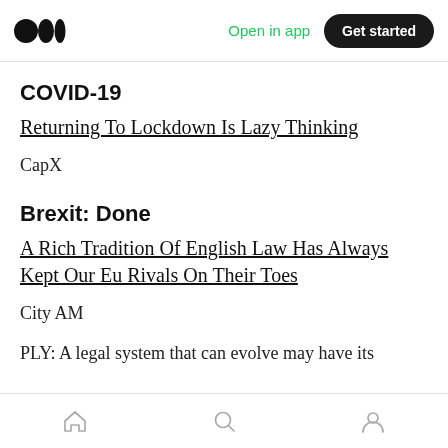Medium app navigation bar with logo, Open in app, Get started
COVID-19
Returning To Lockdown Is Lazy Thinking
CapX
Brexit: Done
A Rich Tradition Of English Law Has Always Kept Our Eu Rivals On Their Toes
City AM
PLY: A legal system that can evolve may have its
Bottom navigation bar: Home, Search, Profile